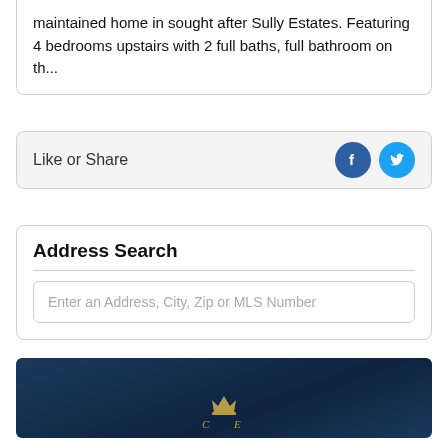maintained home in sought after Sully Estates. Featuring 4 bedrooms upstairs with 2 full baths, full bathroom on th...
Like or Share
Address Search
Enter an Address, City, Zip or MLS Number
[Figure (logo): Dark navy blue background with a partial gold/tan logo or crest at the bottom center]